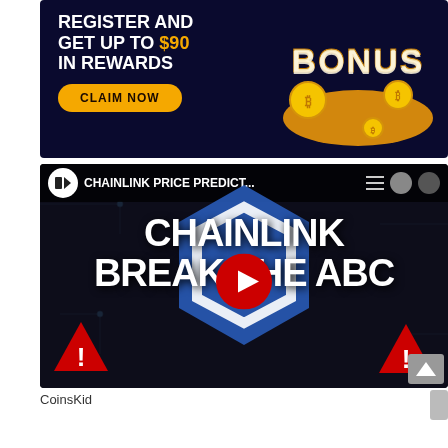[Figure (infographic): Dark navy advertisement banner: 'REGISTER AND GET UP TO $90 IN REWARDS' with a yellow 'CLAIM NOW' button on the left, and a 3D gold BONUS text with Bitcoin coins on the right.]
[Figure (screenshot): YouTube video thumbnail for 'CHAINLINK PRICE PREDICT...' by CoinsKid. Shows CHAINLINK BREAK THE ABC text in large white bold letters over a blue hexagon Chainlink logo on dark background, with red YouTube play button in center and two red warning triangle icons at bottom corners.]
CoinsKid